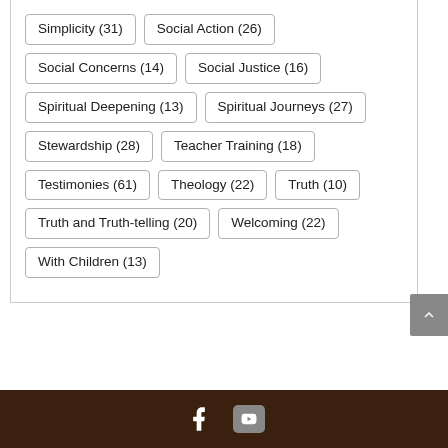Simplicity (31)
Social Action (26)
Social Concerns (14)
Social Justice (16)
Spiritual Deepening (13)
Spiritual Journeys (27)
Stewardship (28)
Teacher Training (18)
Testimonies (61)
Theology (22)
Truth (10)
Truth and Truth-telling (20)
Welcoming (22)
With Children (13)
Facebook | YouTube